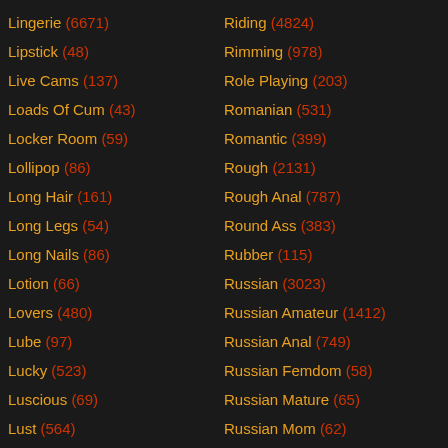Lingerie (6671)
Lipstick (48)
Live Cams (137)
Loads Of Cum (43)
Locker Room (59)
Lollipop (86)
Long Hair (161)
Long Legs (54)
Long Nails (86)
Lotion (66)
Lovers (480)
Lube (97)
Lucky (523)
Luscious (69)
Lust (564)
MILF (31289)
Riding (4824)
Rimming (978)
Role Playing (203)
Romanian (531)
Romantic (399)
Rough (2131)
Rough Anal (787)
Round Ass (383)
Rubber (115)
Russian (3023)
Russian Amateur (1412)
Russian Anal (749)
Russian Femdom (58)
Russian Mature (65)
Russian Mom (62)
Russian Outdoor (58)